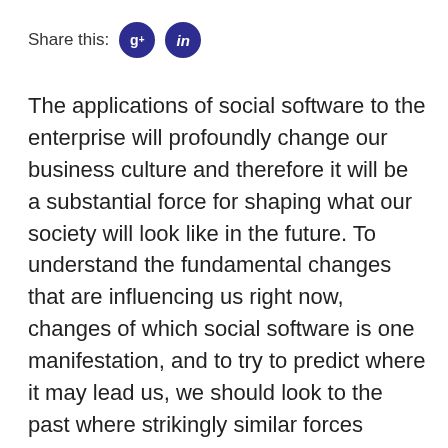Share this:
The applications of social software to the enterprise will profoundly change our business culture and therefore it will be a substantial force for shaping what our society will look like in the future. To understand the fundamental changes that are influencing us right now, changes of which social software is one manifestation, and to try to predict where it may lead us, we should look to the past where strikingly similar forces applied to society and science lead to the most significant cultural change in Europe and arguably the world.